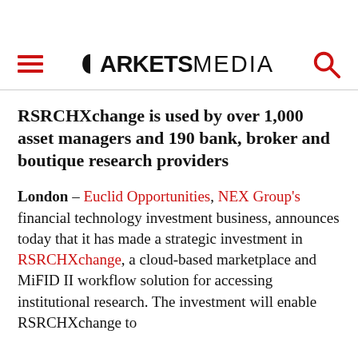MARKETS MEDIA
RSRCHXchange is used by over 1,000 asset managers and 190 bank, broker and boutique research providers
London – Euclid Opportunities, NEX Group's financial technology investment business, announces today that it has made a strategic investment in RSRCHXchange, a cloud-based marketplace and MiFID II workflow solution for accessing institutional research. The investment will enable RSRCHXchange to